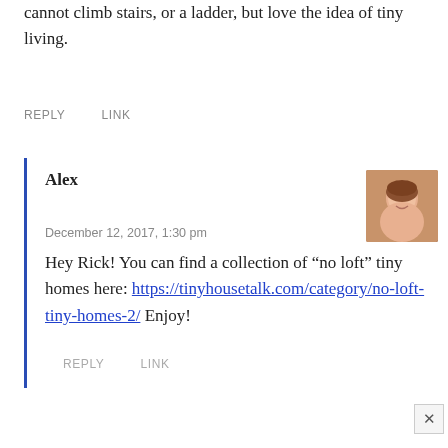cannot climb stairs, or a ladder, but love the idea of tiny living.
REPLY   LINK
Alex
December 12, 2017, 1:30 pm
Hey Rick! You can find a collection of “no loft” tiny homes here: https://tinyhousetalk.com/category/no-loft-tiny-homes-2/ Enjoy!
REPLY   LINK